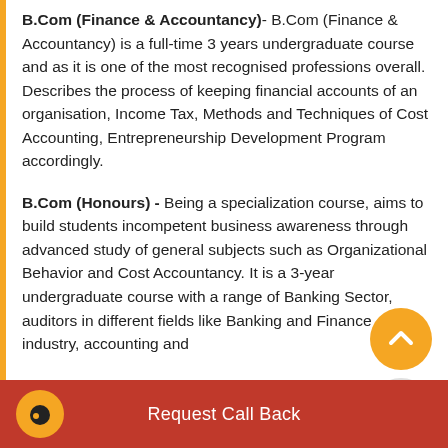B.Com (Finance & Accountancy)- B.Com (Finance & Accountancy) is a full-time 3 years undergraduate course and as it is one of the most recognised professions overall. Describes the process of keeping financial accounts of an organisation, Income Tax, Methods and Techniques of Cost Accounting, Entrepreneurship Development Program accordingly.
B.Com (Honours) - Being a specialization course, aims to build students incompetent business awareness through advanced study of general subjects such as Organizational Behavior and Cost Accountancy. It is a 3-year undergraduate course with a range of Banking Sector, auditors in different fields like Banking and Finance industry, accounting and